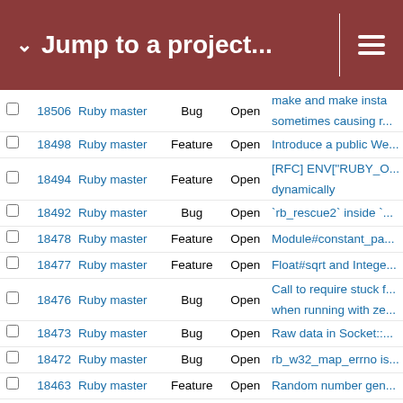Jump to a project...
|  | # | Project | Type | Status | Subject |
| --- | --- | --- | --- | --- | --- |
|  | 18506 | Ruby master | Bug | Open | make and make insta sometimes causing r... |
|  | 18498 | Ruby master | Feature | Open | Introduce a public We... |
|  | 18494 | Ruby master | Feature | Open | [RFC] ENV["RUBY_O... dynamically |
|  | 18492 | Ruby master | Bug | Open | `rb_rescue2` inside `... |
|  | 18478 | Ruby master | Feature | Open | Module#constant_pa... |
|  | 18477 | Ruby master | Feature | Open | Float#sqrt and Intege... |
|  | 18476 | Ruby master | Bug | Open | Call to require stuck f... when running with ze... |
|  | 18473 | Ruby master | Bug | Open | Raw data in Socket::... |
|  | 18472 | Ruby master | Bug | Open | rb_w32_map_errno is... |
|  | 18463 | Ruby master | Feature | Open | Random number gen... |
|  | 18462 | Ruby master | Feature | Open | Proposal to merge W... |
|  | 18457 | Ruby master | Bug | Open | ruby 2.7.5 fiddle/type... uint32_t |
|  | 18456 | Ruby master | Bug | Open | rdoc non-determinism... twice to generated .ri... |
|  | 18455 | Ruby master | Bug | Open | `IO#close` has poor p... semantics. |
|  | 18454 | Ruby master | Bug | Open | YJIT slowing down ke... |